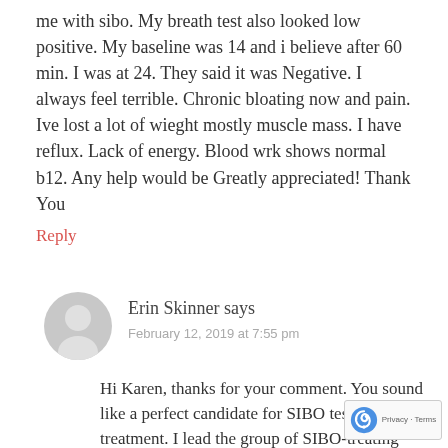me with sibo. My breath test also looked low positive. My baseline was 14 and i believe after 60 min. I was at 24. They said it was Negative. I always feel terrible. Chronic bloating now and pain. Ive lost a lot of wieght mostly muscle mass. I have reflux. Lack of energy. Blood wrk shows normal b12. Any help would be Greatly appreciated! Thank You
Reply
Erin Skinner says
February 12, 2019 at 7:55 pm
Hi Karen, thanks for your comment. You sound like a perfect candidate for SIBO testing and treatment. I lead the group of SIBO-treating Dietitians and have m years of experience. However, there are also othe practitioners who are skilled at SIBO treatment. It's